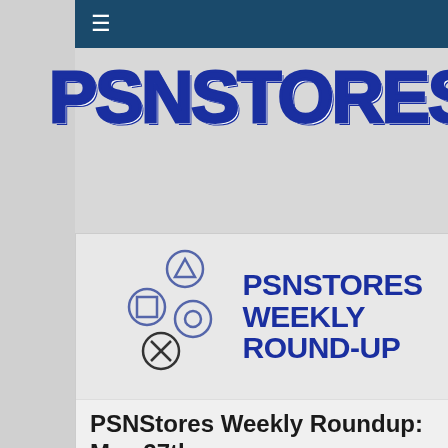≡ (navigation bar)
PSNSTORES
[Figure (logo): PSNStores Weekly Round-Up logo with PlayStation controller button icons (triangle, square, circle, cross) and bold dark blue text reading PSNSTORES WEEKLY ROUND-UP]
PSNStores Weekly Roundup: May 27th –